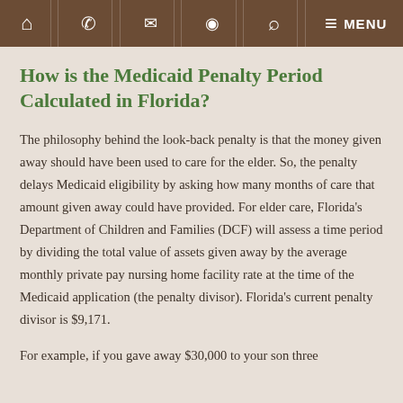Navigation bar with home, phone, mail, location, search, and menu icons
How is the Medicaid Penalty Period Calculated in Florida?
The philosophy behind the look-back penalty is that the money given away should have been used to care for the elder. So, the penalty delays Medicaid eligibility by asking how many months of care that amount given away could have provided. For elder care, Florida's Department of Children and Families (DCF) will assess a time period by dividing the total value of assets given away by the average monthly private pay nursing home facility rate at the time of the Medicaid application (the penalty divisor). Florida's current penalty divisor is $9,171.
For example, if you gave away $30,000 to your son three